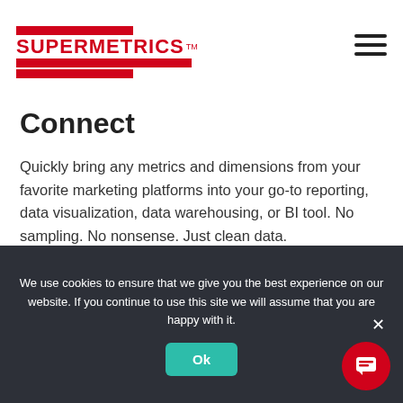[Figure (logo): Supermetrics logo with red horizontal bars and red bold text]
Connect
Quickly bring any metrics and dimensions from your favorite marketing platforms into your go-to reporting, data visualization, data warehousing, or BI tool. No sampling. No nonsense. Just clean data.
Check out all data source connectors
We use cookies to ensure that we give you the best experience on our website. If you continue to use this site we will assume that you are happy with it.